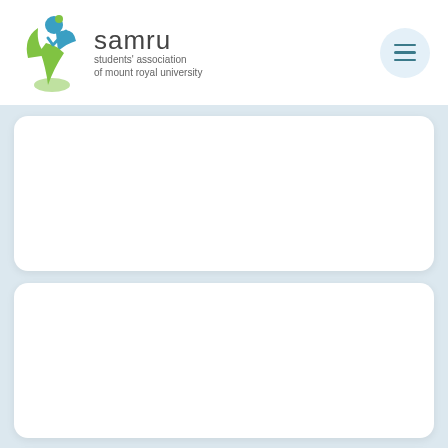[Figure (logo): SAMRU logo — stylized green and blue figure with the text 'samru students' association of mount royal university']
[Figure (other): Hamburger menu button (three horizontal lines) in a light blue circle on the right side of the header]
[Figure (other): White rounded rectangle card 1 — empty content card on a light blue background]
[Figure (other): White rounded rectangle card 2 — empty content card on a light blue background]
[Figure (other): White rounded rectangle card 3 (partially visible) — empty content card on a light blue background]